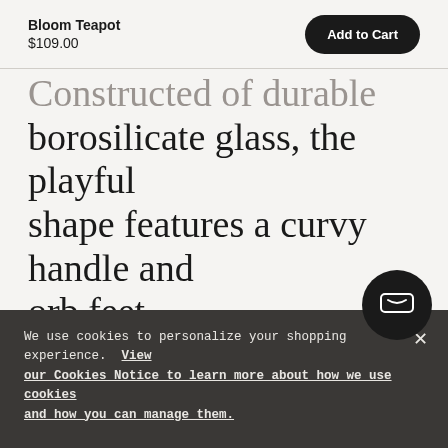Bloom Teapot $109.00 | Add to Cart
Constructed of durable borosilicate glass, the playful shape features a curvy handle and orb feet.
Details
We use cookies to personalize your shopping experience. View our Cookies Notice to learn more about how we use cookies and how you can manage them.
Crafted of borosilicate glass, which is praised for its…